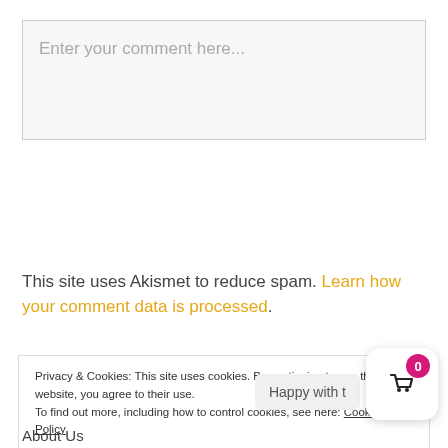Enter your comment here...
This site uses Akismet to reduce spam. Learn how your comment data is processed.
Privacy & Cookies: This site uses cookies. By continuing to use this website, you agree to their use.
To find out more, including how to control cookies, see here: Cookie Policy
Happy with t
About Us